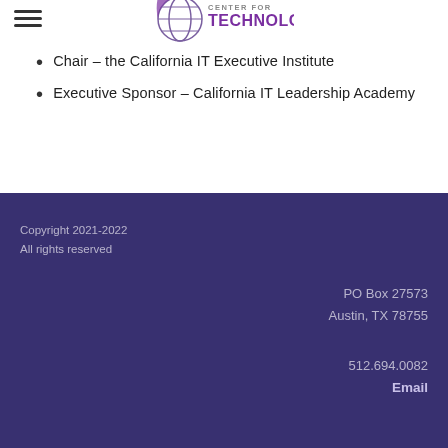[Figure (logo): Center for Technology logo with globe icon and purple/gray text]
Chair – the California IT Executive Institute
Executive Sponsor – California IT Leadership Academy
Copyright 2021-2022
All rights reserved
PO Box 27573
Austin, TX 78755
512.694.0082
Email